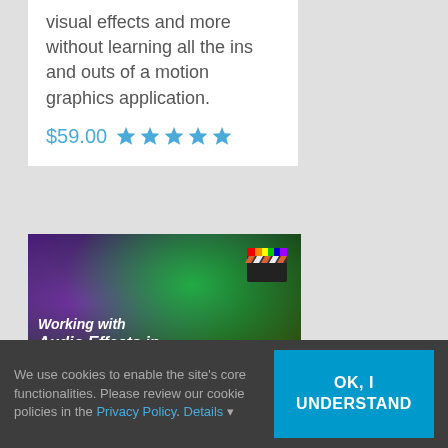visual effects and more without learning all the ins and outs of a motion graphics application.
$59.00 ★★★★★
[Figure (photo): Promotional banner for 'Working with Audio Effects in Final Cut Pro X' course, with colorful glowing background and clapperboard icon.]
We use cookies to enable the site's core functionalities. Please review our cookie policies in the Privacy Policy. Details ▾
OK, I UNDERSTAND